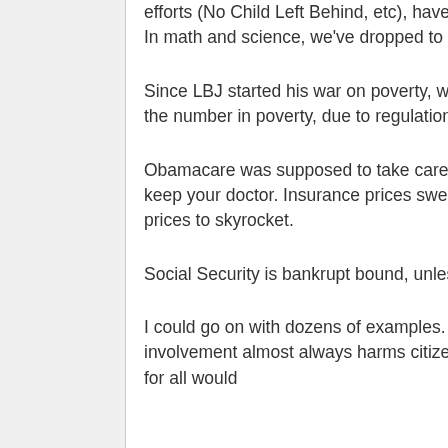efforts (No Child Left Behind, etc), have not produced any improvement in test scores. In math and science, we've dropped to around 25th in the world
Since LBJ started his war on poverty, we've spent .over $22 trillions, but have increased the number in poverty, due to regulation that keeps people from rising above poverty.
Obamacare was supposed to take care of everyone, while reducing cost and letting you keep your doctor. Insurance prices swelled. Medicare is almost bankrupt, and caused prices to skyrocket.
Social Security is bankrupt bound, unless benefits are greatly reduced for future users.
I could go on with dozens of examples. Government does nothing efficiently. It's involvement almost always harms citizens and the free market in the long run. Medicare for all would